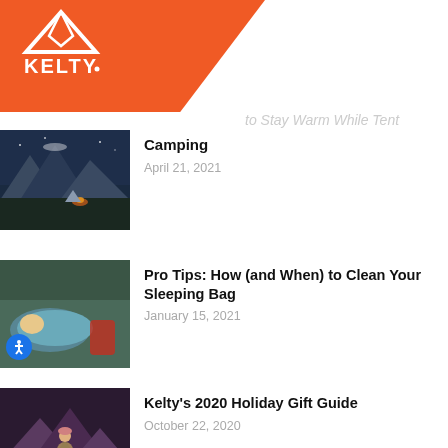Kelty
to Stay Warm While Tent
Camping
April 21, 2021
Pro Tips: How (and When) to Clean Your Sleeping Bag
January 15, 2021
Kelty's 2020 Holiday Gift Guide
October 22, 2020
Kelty's 9 TIPS FOR FIRST-TIME BACKPACKERS
July 8, 2020